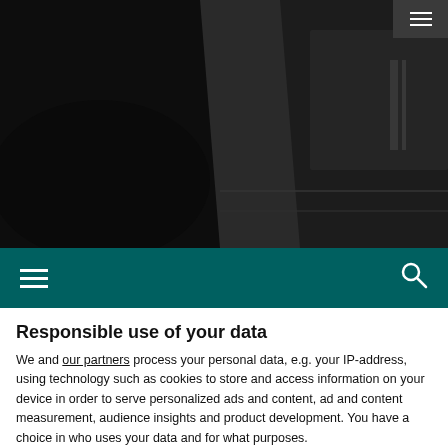[Figure (photo): Dark moody photograph showing close-up of a laptop or electronic device, mostly black with some grey reflective surfaces visible]
[Figure (screenshot): Teal/dark green navigation bar with hamburger menu icon on the left and search (magnifying glass) icon on the right]
Responsible use of your data
We and our partners process your personal data, e.g. your IP-address, using technology such as cookies to store and access information on your device in order to serve personalized ads and content, ad and content measurement, audience insights and product development. You have a choice in who uses your data and for what purposes.
If you allow, we would also like to:
Collect information about your geographical location which can be